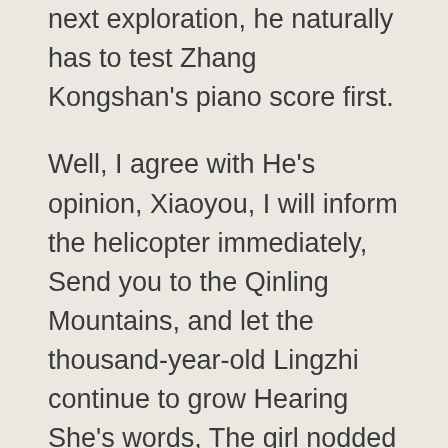next exploration, he naturally has to test Zhang Kongshan's piano score first.
Well, I agree with He's opinion, Xiaoyou, I will inform the helicopter immediately, Send you to the Qinling Mountains, and let the thousand-year-old Lingzhi continue to grow Hearing She's words, The girl nodded involuntarily and agreed Hearing He's words, everyone looked at Fang You with astonishment Da Vinci's sketches could also be missed, which is unbelievable, He, don't betray you, we will keep it a secret we will do whatever you ask us to do, as long as you take out the painting.
They can't wait to come to France to watch the live broadcast An old man said with a smile Well, it makes sense to say that, then let them envy, haha He was stunned for a moment, then laughed again It is very retro